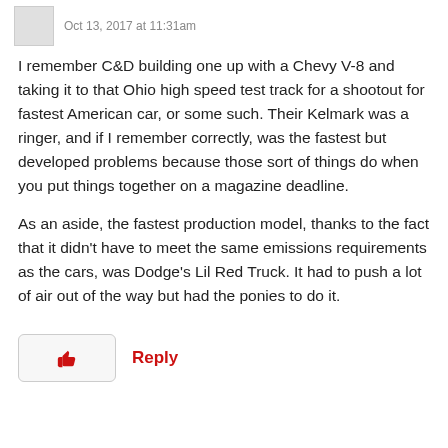Oct 13, 2017 at 11:31am
I remember C&D building one up with a Chevy V-8 and taking it to that Ohio high speed test track for a shootout for fastest American car, or some such. Their Kelmark was a ringer, and if I remember correctly, was the fastest but developed problems because those sort of things do when you put things together on a magazine deadline.
As an aside, the fastest production model, thanks to the fact that it didn't have to meet the same emissions requirements as the cars, was Dodge's Lil Red Truck. It had to push a lot of air out of the way but had the ponies to do it.